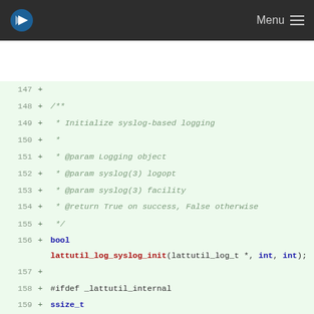Menu
[Figure (screenshot): Code diff view showing C header file lines 147-161 with added lines (green background). Lines show a Doxygen comment block for lattutil_log_syslog_init function and declarations for lattutil_log_syslog_init and lattutil_log_syslog_info functions.]